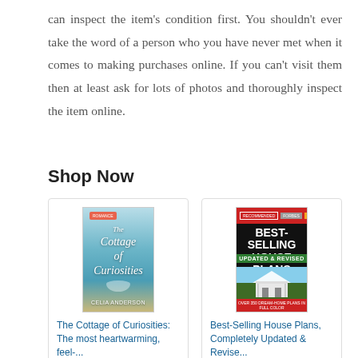can inspect the item's condition first. You shouldn't ever take the word of a person who you have never met when it comes to making purchases online. If you can't visit them then at least ask for lots of photos and thoroughly inspect the item online.
Shop Now
[Figure (illustration): Book cover: The Cottage of Curiosities]
The Cottage of Curiosities: The most heartwarming, feel-...
$5.99
★★★★☆ (4507)
[Figure (illustration): Book cover: Best-Selling House Plans, Completely Updated & Revised]
Best-Selling House Plans, Completely Updated & Revise...
$12.89 ✓prime
★★★★☆ (60)